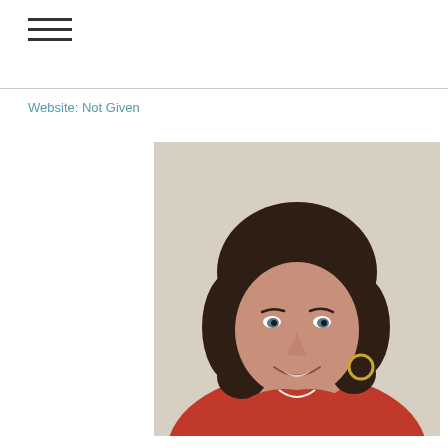≡
Website: Not Given
[Figure (photo): Portrait photo of Wendy Brown-Baez, a woman with short curly dark hair, smiling, wearing a red top and hoop earrings with a colorful necklace, against a light beige background.]
Wendy Brown-Baez
Featured: December 2017